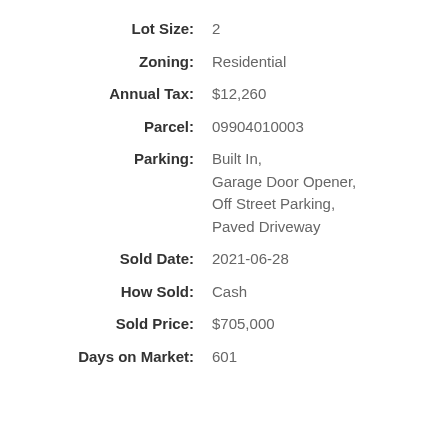Lot Size: 2
Zoning: Residential
Annual Tax: $12,260
Parcel: 09904010003
Parking: Built In, Garage Door Opener, Off Street Parking, Paved Driveway
Sold Date: 2021-06-28
How Sold: Cash
Sold Price: $705,000
Days on Market: 601